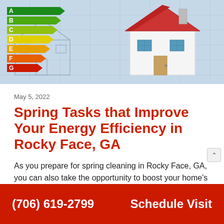[Figure (photo): Energy efficiency rating arrows (A through G in green to red gradient) with a model house and blueprints on a light blue background]
May 5, 2022
Spring Tasks that Improve Your Energy Efficiency in Rocky Face, GA
As you prepare for spring cleaning in Rocky Face, GA, you can also take the opportunity to boost your home’s energy efficiency.... ...
Read More...
(706) 619-2799   Schedule Visit